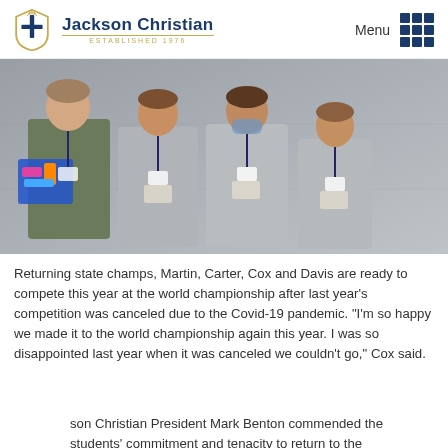Jackson Christian ESTABLISHED 1976 | Menu
[Figure (photo): Four young male students wearing gray t-shirts with lanyards and competition badges standing against a concrete wall. The leftmost student holds a colorful blue and pink robotics competition robot. One student wears a face mask.]
Returning state champs, Martin, Carter, Cox and Davis are ready to compete this year at the world championship after last year's competition was canceled due to the Covid-19 pandemic. "I'm so happy we made it to the world championship again this year. I was so disappointed last year when it was canceled we couldn't go," Cox said.
Jackson Christian President Mark Benton commended the students' commitment and tenacity to return to the